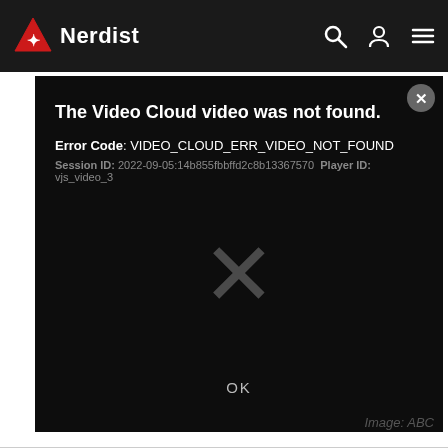Nerdist
[Figure (screenshot): Video player error screen on black background showing: 'The Video Cloud video was not found.' Error Code: VIDEO_CLOUD_ERR_VIDEO_NOT_FOUND. Session ID: 2022-09-05:14b855fbbffd2c8b13367570 Player ID: vjs_video_3. Large X icon in center. OK button at bottom.]
Image: ABC